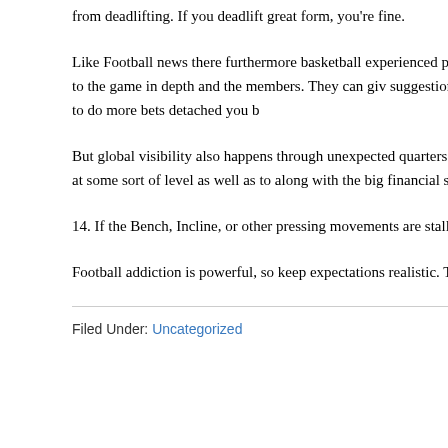from deadlifting. If you deadlift great form, you're fine.
Like Football news there furthermore basketball experienced persons. The challenges related to basketball picks are equal to in football picks. Of su who know in regard to the game in depth and the members. They can give suggestions. Mantra of sophisticated a basketball pick, or football and oth being conservative. If your win and wish to do more bets detached you b
But global visibility also happens through unexpected quarters. Mid 1999 Satyam Infoway requested me manage the PR for their ADS listing on Na opportunity perform at some sort of level as well as to along with the big financial sector-Merrill Lynch, Citibank, Deutsche Bank, and KPMG and, management at NASDAQ.
14. If the Bench, Incline, or other pressing movements are stalling, try ch narrow, mixed or reverse. This provide a subtle, but much needed chang
Football addiction is powerful, so keep expectations realistic. The sugges seconds away . start down a long road, nevertheless it's a nice beginning results.
Filed Under: Uncategorized